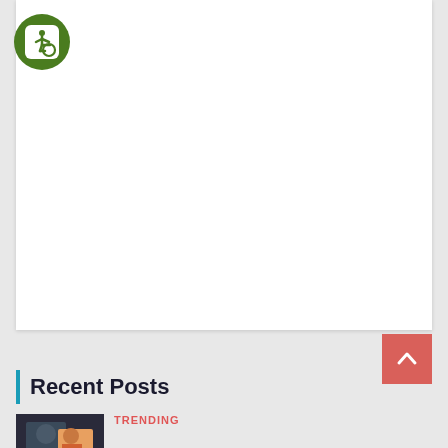[Figure (logo): Green circle with wheelchair accessibility icon (white rounded square with wheelchair symbol inside)]
[Figure (other): Back to top button — salmon/red square with white upward chevron]
Recent Posts
[Figure (photo): Thumbnail photo of a person, appears to be a sports or news image]
TRENDING